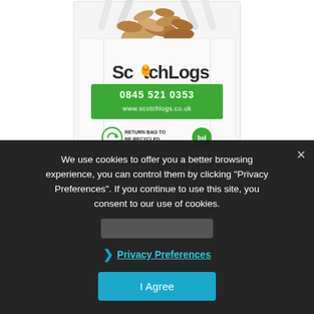[Figure (photo): A large white bulk bag (tote bag) filled with firewood logs, branded 'ScotchLogs' with a green banner showing phone number 0845 521 0353 and website www.scotchlogs.co.uk, and icons for 'Return bag to be recycled' and BSL certification logo.]
We use cookies to offer you a better browsing experience, you can control them by clicking "Privacy Preferences". If you continue to use this site, you consent to our use of cookies.
❯ Privacy Preferences
I Agree